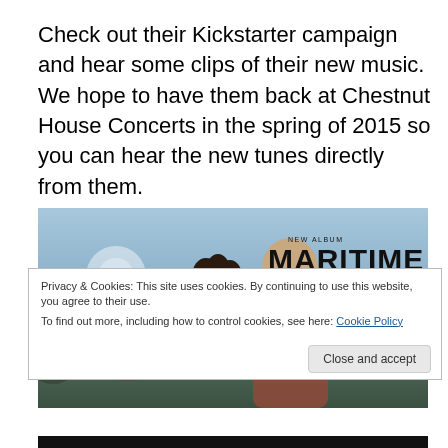Check out their Kickstarter campaign and hear some clips of their new music.  We hope to have them back at Chestnut House Concerts in the spring of 2015 so you can hear the new tunes directly from them.
[Figure (photo): Photo of two people (a woman with curly hair and a man with a beard) smiling outdoors near water and rocks. Overlaid text reads 'NEW ALBUM' and 'MARITIME' in bold large letters.]
Privacy & Cookies: This site uses cookies. By continuing to use this website, you agree to their use.
To find out more, including how to control cookies, see here: Cookie Policy